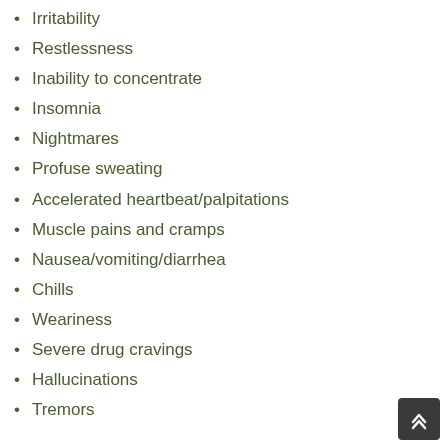Irritability
Restlessness
Inability to concentrate
Insomnia
Nightmares
Profuse sweating
Accelerated heartbeat/palpitations
Muscle pains and cramps
Nausea/vomiting/diarrhea
Chills
Weariness
Severe drug cravings
Hallucinations
Tremors